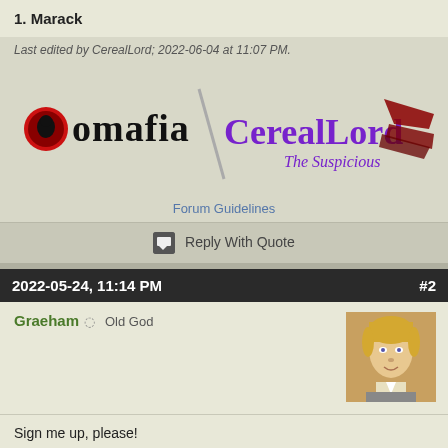1. Marack
Last edited by CerealLord; 2022-06-04 at 11:07 PM.
[Figure (logo): Forum signature banner: 'omafia' logo on left with red circle icon, 'CerealLord The Suspicious' in purple gothic font on right with bloody knife/dagger graphic]
Forum Guidelines
Reply With Quote
2022-05-24, 11:14 PM  #2
Graeham  Old God
[Figure (photo): Avatar image of a blonde male video game character]
Sign me up, please!
Reply With Quote
2022-05-24, 11:24 PM  #3